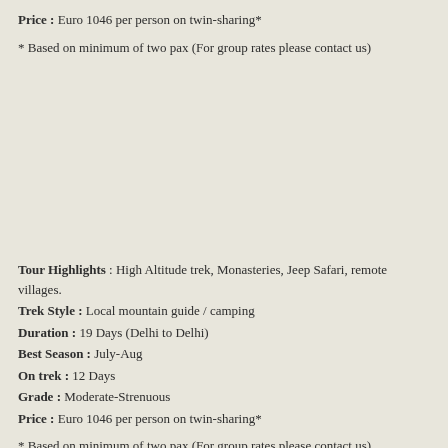Price : Euro 1046 per person on twin-sharing*
* Based on minimum of two pax (For group rates please contact us)
Tour Highlights : High Altitude trek, Monasteries, Jeep Safari, remote villages.
Trek Style :  Local mountain guide / camping
Duration :  19 Days (Delhi to Delhi)
Best Season :  July-Aug
On trek :  12 Days
Grade :   Moderate-Strenuous
Price : Euro 1046 per person on twin-sharing*
* Based on minimum of two pax (For group rates please contact us)
About The Trek